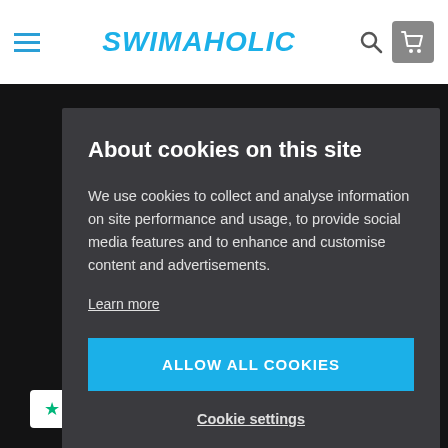SWIMAHOLIC
About cookies on this site
We use cookies to collect and analyse information on site performance and usage, to provide social media features and to enhance and customise content and advertisements.
Learn more
ALLOW ALL COOKIES
Cookie settings
Trustpilot
Terms & Conditions